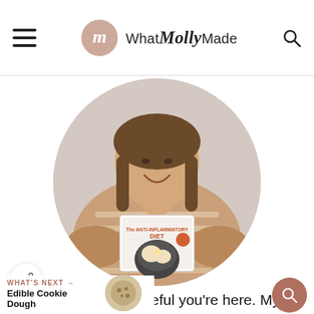What Molly Made
[Figure (photo): Woman in striped top smiling and holding The Anti-Inflammatory Diet Made Simple cookbook, shown in a circular crop]
I'm Molly! I'm so grateful you're here. My hope is that my recipes bless your nd your bodies. I want my website to be a tool to help you feel your best and nourish you with recipes
WHAT'S NEXT → Edible Cookie Dough